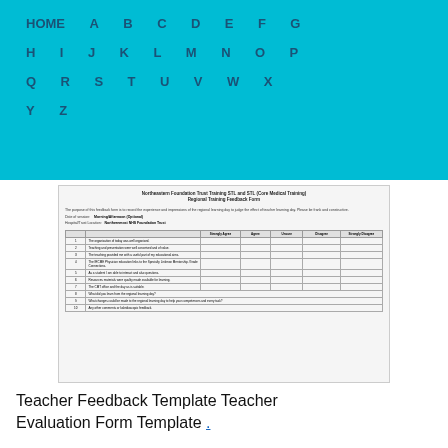HOME A B C D E F G H I J K L M N O P Q R S T U V W X Y Z
[Figure (other): Thumbnail of a teacher feedback form document: Northeastern Foundation Trust Training STL and STL (Core Medical Training) Regional Training Feedback Form, with a table for rating items on a scale.]
Teacher Feedback Template Teacher Evaluation Form Template .